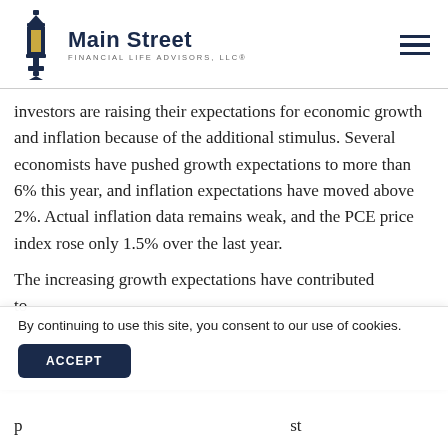Main Street FINANCIAL LIFE ADVISORS, LLC®
investors are raising their expectations for economic growth and inflation because of the additional stimulus. Several economists have pushed growth expectations to more than 6% this year, and inflation expectations have moved above 2%. Actual inflation data remains weak, and the PCE price index rose only 1.5% over the last year.
The increasing growth expectations have contributed to
By continuing to use this site, you consent to our use of cookies.
ACCEPT
p st